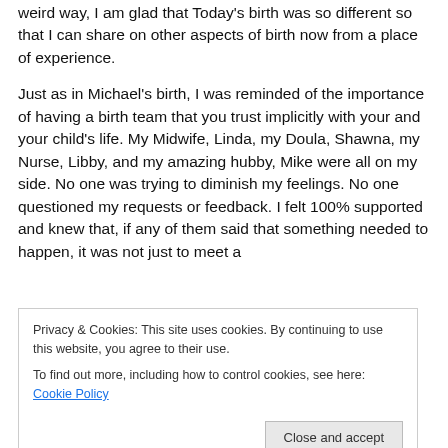weird way, I am glad that Today's birth was so different so that I can share on other aspects of birth now from a place of experience.
Just as in Michael's birth, I was reminded of the importance of having a birth team that you trust implicitly with your and your child's life. My Midwife, Linda, my Doula, Shawna, my Nurse, Libby, and my amazing hubby, Mike were all on my side. No one was trying to diminish my feelings. No one questioned my requests or feedback. I felt 100% supported and knew that, if any of them said that something needed to happen, it was not just to meet a
Privacy & Cookies: This site uses cookies. By continuing to use this website, you agree to their use.
To find out more, including how to control cookies, see here: Cookie Policy
that day without the support from and confidence in my